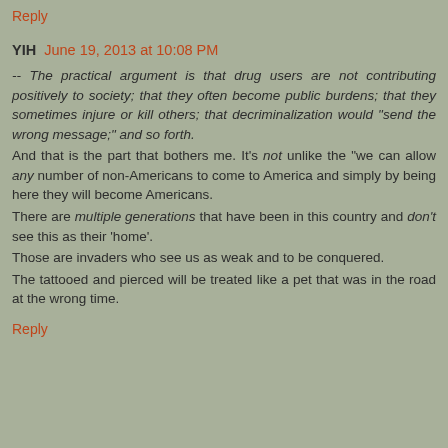Reply
YIH  June 19, 2013 at 10:08 PM
-- The practical argument is that drug users are not contributing positively to society; that they often become public burdens; that they sometimes injure or kill others; that decriminalization would "send the wrong message;" and so forth.
And that is the part that bothers me. It's not unlike the "we can allow any number of non-Americans to come to America and simply by being here they will become Americans.
There are multiple generations that have been in this country and don't see this as their 'home'.
Those are invaders who see us as weak and to be conquered.
The tattooed and pierced will be treated like a pet that was in the road at the wrong time.
Reply